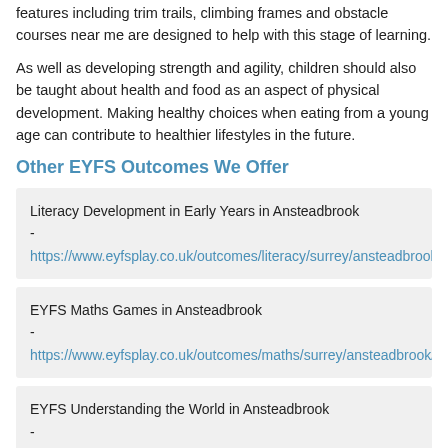features including trim trails, climbing frames and obstacle courses near me are designed to help with this stage of learning.
As well as developing strength and agility, children should also be taught about health and food as an aspect of physical development. Making healthy choices when eating from a young age can contribute to healthier lifestyles in the future.
Other EYFS Outcomes We Offer
Literacy Development in Early Years in Ansteadbrook - https://www.eyfsplay.co.uk/outcomes/literacy/surrey/ansteadbrook/
EYFS Maths Games in Ansteadbrook - https://www.eyfsplay.co.uk/outcomes/maths/surrey/ansteadbrook/
EYFS Understanding the World in Ansteadbrook - https://www.eyfsplay.co.uk/outcomes/world/surrey/ansteadbrook/
EYFS Communication and Language in Ansteadbrook - https://www.eyfsplay.co.uk/outcomes/language/surre